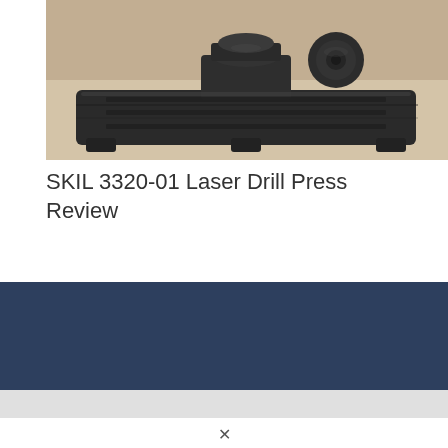[Figure (photo): Photograph of a SKIL 3320-01 Laser Drill Press base/table component, dark metal, on a beige/tan background]
SKIL 3320-01 Laser Drill Press Review